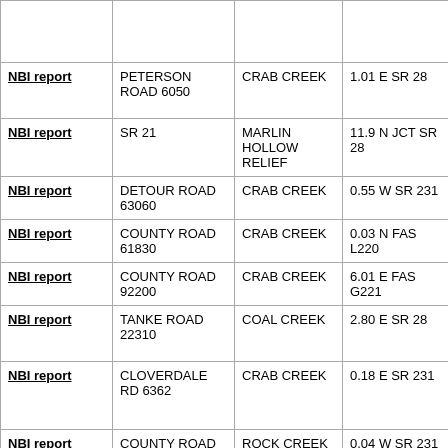| NBI report |  |  |  |
| NBI report | PETERSON ROAD 6050 | CRAB CREEK | 1.01 E SR 28 |
| NBI report | SR 21 | MARLIN HOLLOW RELIEF | 11.9 N JCT SR 28 |
| NBI report | DETOUR ROAD 63060 | CRAB CREEK | 0.55 W SR 231 |
| NBI report | COUNTY ROAD 61830 | CRAB CREEK | 0.03 N FAS L220 |
| NBI report | COUNTY ROAD 92200 | CRAB CREEK | 6.01 E FAS G221 |
| NBI report | TANKE ROAD 22310 | COAL CREEK | 2.80 E SR 28 |
| NBI report | CLOVERDALE RD 6362 | CRAB CREEK | 0.18 E SR 231 |
| NBI report | COUNTY ROAD 3901 | ROCK CREEK | 0.04 W SR 231 |